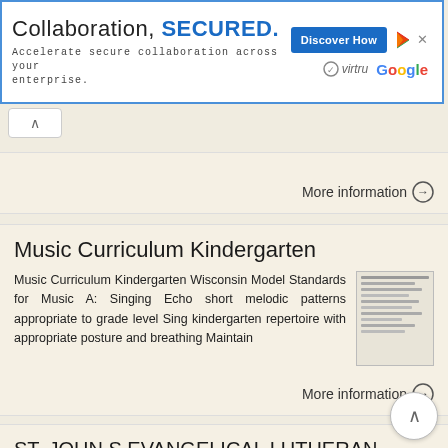[Figure (other): Advertisement banner: 'Collaboration, SECURED.' with Virtru and Google branding, and a 'Discover How' button]
More information →
Music Curriculum Kindergarten
Music Curriculum Kindergarten Wisconsin Model Standards for Music A: Singing Echo short melodic patterns appropriate to grade level Sing kindergarten repertoire with appropriate posture and breathing Maintain
More information →
ST. JOHN S EVANGELICAL LUTHERAN SCHOOL Curriculum in Music. Ephesians 5:19-20
ST. JOHN S EVANGELICAL LUTHERAN